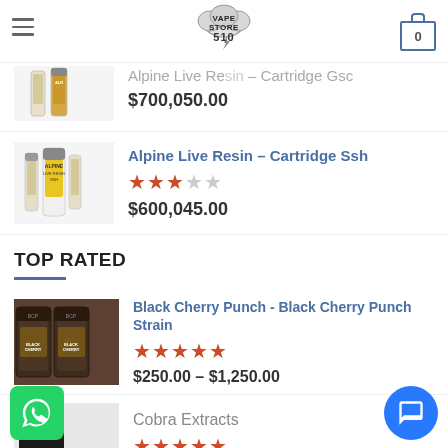Vape Store 510 - Navigation and Cart
[Figure (logo): Vape Store 510 logo with smoke cloud design]
Alpine Live Resin – Cartridge Gsc
$700,050.00
Alpine Live Resin – Cartridge Ssh
Rating: 3 out of 5
$600,045.00
TOP RATED
Black Cherry Punch - Black Cherry Punch Strain
Rating: 5 out of 5
$250.00 – $1,250.00
Cobra Extracts
Rating: 5 out of 5
$35.00